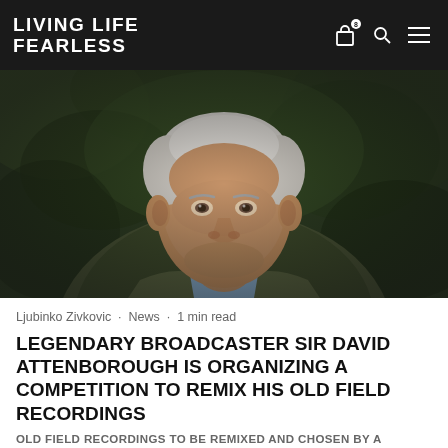LIVING LIFE FEARLESS
[Figure (photo): Portrait photo of elderly man with white hair wearing an olive/khaki jacket over a light blue shirt, photographed outdoors with green foliage in background. Believed to be Sir David Attenborough.]
Ljubinko Zivkovic · News · 1 min read
LEGENDARY BROADCASTER SIR DAVID ATTENBOROUGH IS ORGANIZING A COMPETITION TO REMIX HIS OLD FIELD RECORDINGS
OLD FIELD RECORDINGS TO BE REMIXED AND CHOSEN BY A CELEBRITY JUDGING PANEL